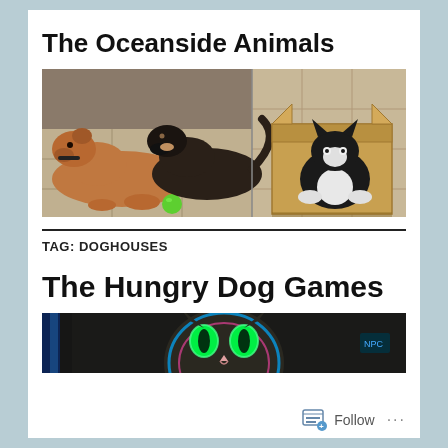The Oceanside Animals
[Figure (photo): Wide banner photo showing two dogs lying on a tiled floor on the left side, and a black-and-white cat sitting inside a cardboard box on the right side. A green ball is visible near the dogs.]
TAG: DOGHOUSES
The Hungry Dog Games
[Figure (photo): Partial banner photo showing a cat with glowing green eyes and colorful neon overlay effect, partially visible.]